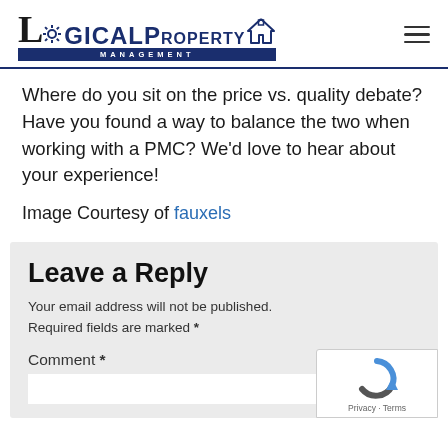Logical Property Management
Where do you sit on the price vs. quality debate? Have you found a way to balance the two when working with a PMC? We'd love to hear about your experience!
Image Courtesy of fauxels
Leave a Reply
Your email address will not be published. Required fields are marked *
Comment *